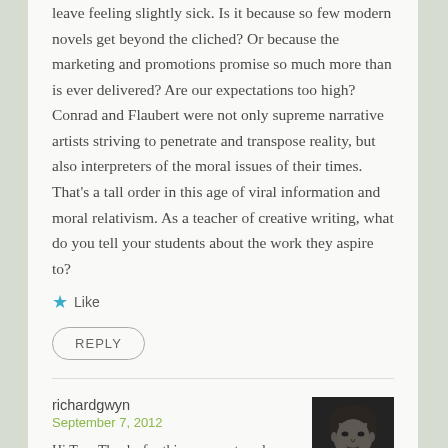leave feeling slightly sick. Is it because so few modern novels get beyond the cliched? Or because the marketing and promotions promise so much more than is ever delivered? Are our expectations too high? Conrad and Flaubert were not only supreme narrative artists striving to penetrate and transpose reality, but also interpreters of the moral issues of their times. That's a tall order in this age of viral information and moral relativism. As a teacher of creative writing, what do you tell your students about the work they aspire to?
Like
REPLY
richardgwyn
September 7, 2012
Hi Tom Thanks for this comment, and your